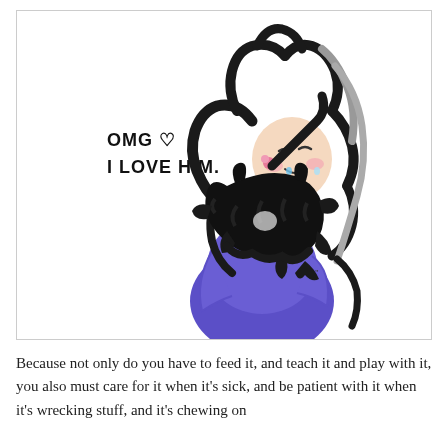[Figure (illustration): A cartoon illustration of a girl with long dark and gray wavy hair, wearing a blue/purple dress, holding a fluffy black cat close to her face. She is crying happy tears (shown as blue and pink dots). Text in the illustration reads 'OMG ♡ I LOVE HIM.' in a hand-lettered style.]
Because not only do you have to feed it, and teach it and play with it, you also must care for it when it's sick, and be patient with it when it's wrecking stuff, and it's chewing on